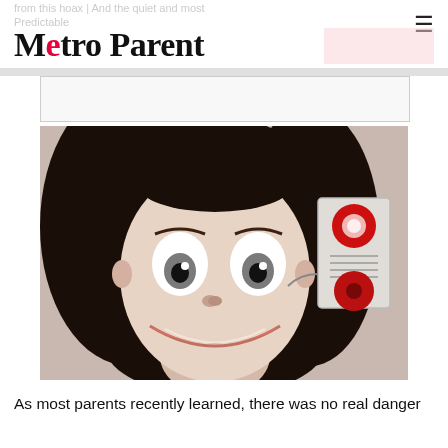Metro Parent
[Figure (photo): Photograph of the Momo internet hoax figure — a disturbing doll-like sculpted face with long dark hair, large bulging eyes, and a wide unsettling grin, posed next to a wall-mounted intercom device with two red buttons.]
As most parents recently learned, there was no real danger